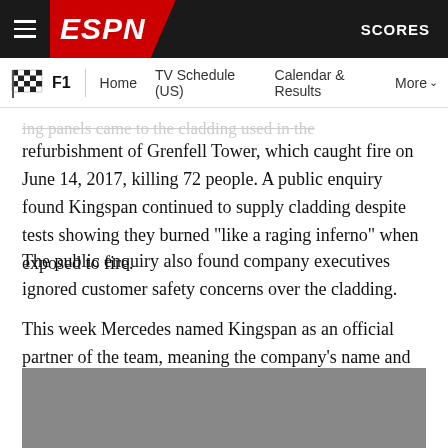ESPN F1 | Home | TV Schedule (US) | Calendar & Results | More | SCORES
…ing panels came to the cladding used in the refurbishment of Grenfell Tower, which caught fire on June 14, 2017, killing 72 people. A public enquiry found Kingspan continued to supply cladding despite tests showing they burned "like a raging inferno" when exposed to fire.
The public enquiry also found company executives ignored customer safety concerns over the cladding.
This week Mercedes named Kingspan as an official partner of the team, meaning the company's name and logo will appear on the car at the Saudi Arabian Grand Prix.
[Figure (photo): Gray placeholder image at the bottom of the article]